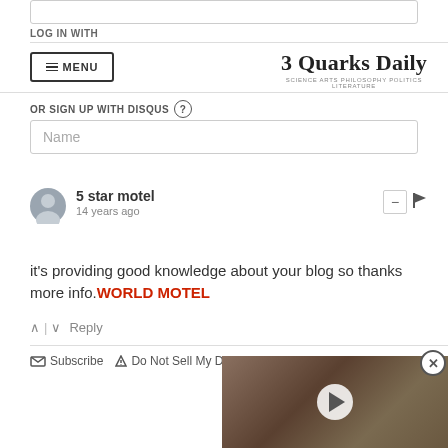LOG IN WITH
[Figure (screenshot): 3 Quarks Daily website header with menu button and logo]
OR SIGN UP WITH DISQUS ?
Name
5 star motel
14 years ago
it's providing good knowledge about your blog so thanks more info.WORLD MOTEL
Subscribe   Do Not Sell My Data
[Figure (photo): Video overlay showing animals, with play button and close button]